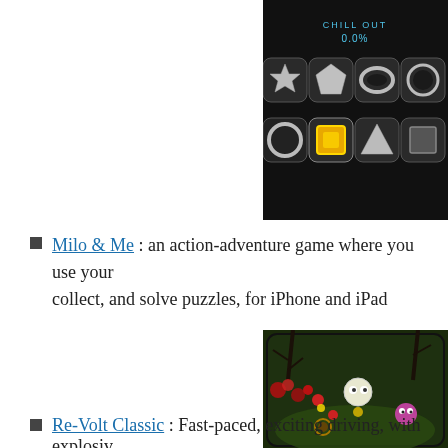[Figure (screenshot): Screenshot of a mobile game UI showing geometric shapes (star, pentagon, circle, ring, ring, square with glow, triangle, square) on a dark background with 'CHILL OUT 0.0%' text at top]
Milo & Me : an action-adventure game where you use your collect, and solve puzzles, for iPhone and iPad
[Figure (screenshot): Screenshot of a dark fantasy game level showing a small round white creature with big eyes, red flowers/mushrooms, bare trees, and a pink creature on the right, all on a dark green background]
Re-Volt Classic : Fast-paced, exciting driving, with explosiv...